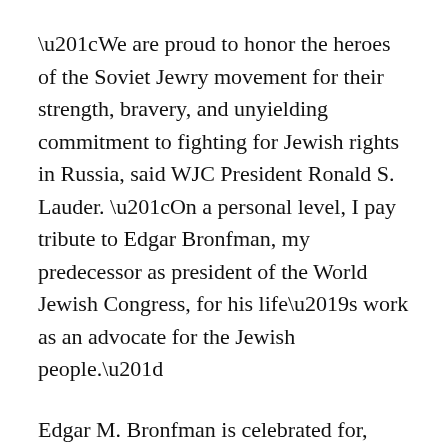“We are proud to honor the heroes of the Soviet Jewry movement for their strength, bravery, and unyielding commitment to fighting for Jewish rights in Russia, said WJC President Ronald S. Lauder. “On a personal level, I pay tribute to Edgar Bronfman, my predecessor as president of the World Jewish Congress, for his life’s work as an advocate for the Jewish people.”
Edgar M. Bronfman is celebrated for, among other accomplishments, initiating diplomacy with the Soviet Union, leading to the legitimization of the Hebrew language in Russia and the freedom for Soviet Jews to practice their religion and immigrate to Israel.
“As I travel, people come up to me wherever I go and start talking about my father and the great impact he